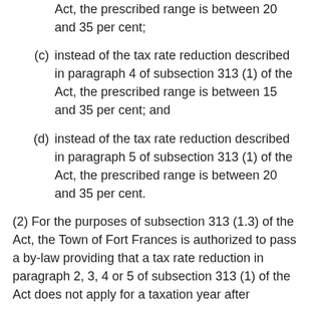Act, the prescribed range is between 20 and 35 per cent;
(c) instead of the tax rate reduction described in paragraph 4 of subsection 313 (1) of the Act, the prescribed range is between 15 and 35 per cent; and
(d) instead of the tax rate reduction described in paragraph 5 of subsection 313 (1) of the Act, the prescribed range is between 20 and 35 per cent.
(2) For the purposes of subsection 313 (1.3) of the Act, the Town of Fort Frances is authorized to pass a by-law providing that a tax rate reduction in paragraph 2, 3, 4 or 5 of subsection 313 (1) of the Act does not apply for a taxation year after